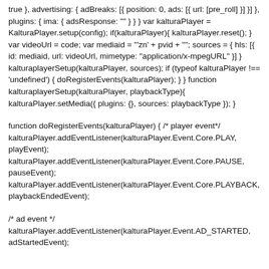true }, advertising: { adBreaks: [{ position: 0, ads: [{ url: [pre_roll] }] }] }, plugins: { ima: { adsResponse: "" } } } var kalturaPlayer = KalturaPlayer.setup(config); if(kalturaPlayer){ kalturaPlayer.reset(); } var videoUrl = code; var mediaid = "'zn' + pvid + ""; sources = { hls: [{ id: mediaid, url: videoUrl, mimetype: "application/x-mpegURL" }] } kalturaplayerSetup(kalturaPlayer, sources); if (typeof kalturaPlayer !== 'undefined') { doRegisterEvents(kalturaPlayer); } } function kalturaplayerSetup(kalturaPlayer, playbackType){ kalturaPlayer.setMedia({ plugins: {}, sources: playbackType }); }
function doRegisterEvents(kalturaPlayer) { /* player event*/ kalturaPlayer.addEventListener(kalturaPlayer.Event.Core.PLAY, playEvent); kalturaPlayer.addEventListener(kalturaPlayer.Event.Core.PAUSE, pauseEvent); kalturaPlayer.addEventListener(kalturaPlayer.Event.Core.PLAYBACK, playbackEndedEvent);
/* ad event */ kalturaPlayer.addEventListener(kalturaPlayer.Event.AD_STARTED, adStartedEvent);